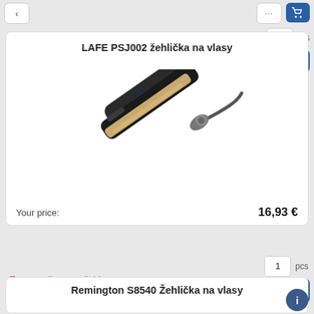Temporarily unavailable
LAFE PSJ002 žehlička na vlasy
[Figure (photo): Product photo of LAFE PSJ002 hair straightener, black and gold flat iron with blue LED display and power cord]
Your price: 16,93 €
Temporarily unavailable
Remington S8540 Žehlička na vlasy